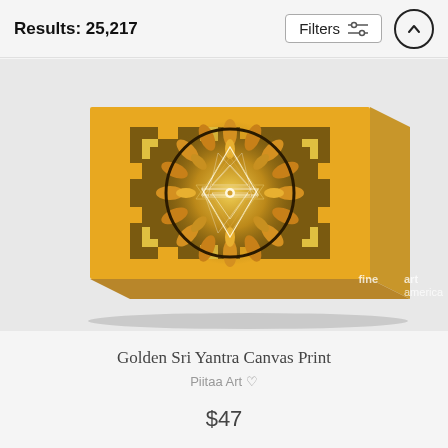Results: 25,217
[Figure (screenshot): Filters button with sliders icon and an up-arrow scroll button in a circle]
[Figure (photo): Golden Sri Yantra canvas print showing a golden mandala with Sri Yantra geometric pattern on a golden background, displayed as a wrapped canvas with 3D perspective. Fine Art America watermark in bottom right.]
Golden Sri Yantra Canvas Print
Piitaa Art
$47